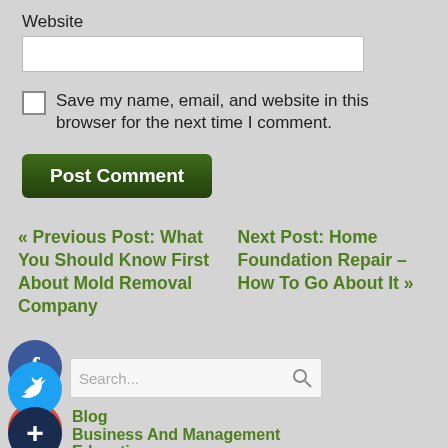Website
[Figure (screenshot): Website text input field (empty)]
Save my name, email, and website in this browser for the next time I comment.
[Figure (screenshot): Post Comment button (dark green)]
« Previous Post: What You Should Know First About Mold Removal Company
Next Post: Home Foundation Repair – How To Go About It »
[Figure (screenshot): Facebook social icon (blue circle with f)]
[Figure (screenshot): Google Plus social icon (red circle with g+)]
[Figure (screenshot): Twitter social icon (blue circle with bird)]
[Figure (screenshot): Plus/add social icon (dark blue circle with +)]
[Figure (screenshot): Search input box with magnifying glass icon]
Blog
Business And Management
Education